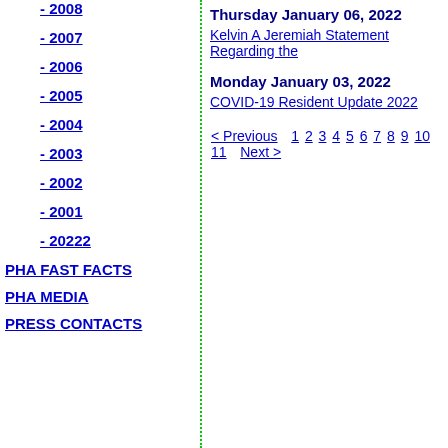- 2008
- 2007
- 2006
- 2005
- 2004
- 2003
- 2002
- 2001
- 20222
PHA FAST FACTS
PHA MEDIA
PRESS CONTACTS
Thursday January 06, 2022
Kelvin A Jeremiah Statement Regarding the
Monday January 03, 2022
COVID-19 Resident Update 2022
< Previous  1 2 3 4 5 6 7 8 9 10 11  Next >